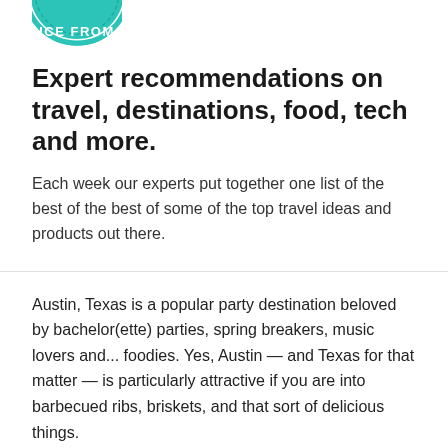[Figure (logo): Teal/turquoise badge or seal graphic with text 'ICE FROM' visible, partially cropped at top]
Expert recommendations on travel, destinations, food, tech and more.
Each week our experts put together one list of the best of the best of some of the top travel ideas and products out there.
Austin, Texas is a popular party destination beloved by bachelor(ette) parties, spring breakers, music lovers and... foodies. Yes, Austin — and Texas for that matter — is particularly attractive if you are into barbecued ribs, briskets, and that sort of delicious things.
While there are many BBQ joints around town, you will want to spent your precious travel budget in a place that allows you to bring your own beer. You know... because